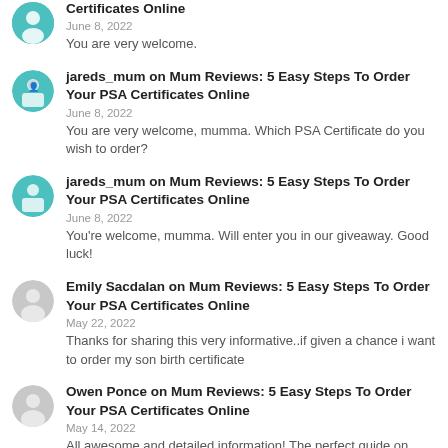Certificates Online
June 8, 2022
You are very welcome.
jareds_mum on Mum Reviews: 5 Easy Steps To Order Your PSA Certificates Online
June 8, 2022
You are very welcome, mumma. Which PSA Certificate do you wish to order?
jareds_mum on Mum Reviews: 5 Easy Steps To Order Your PSA Certificates Online
June 8, 2022
You're welcome, mumma. Will enter you in our giveaway. Good luck!
Emily Sacdalan on Mum Reviews: 5 Easy Steps To Order Your PSA Certificates Online
May 22, 2022
Thanks for sharing this very informative..if given a chance i want to order my son birth certificate
Owen Ponce on Mum Reviews: 5 Easy Steps To Order Your PSA Certificates Online
May 14, 2022
All awesome and detailed information! The perfect guide on havin it !